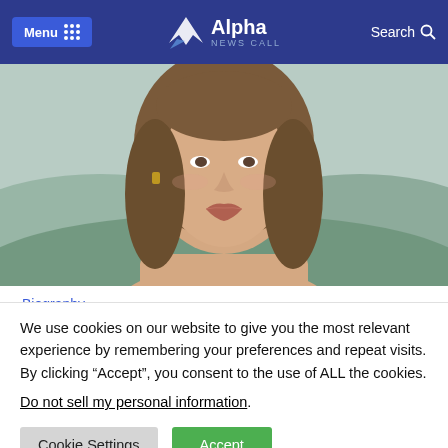Menu  Alpha News Call  Search
[Figure (photo): Partial portrait photo of Angelina Jolie with long brown hair, outdoor background with hills]
Biography
Angelina Jolie Net Worth, Height, Kids, Relationship, Career, And More
We use cookies on our website to give you the most relevant experience by remembering your preferences and repeat visits. By clicking “Accept”, you consent to the use of ALL the cookies.
Do not sell my personal information.
Cookie Settings  Accept